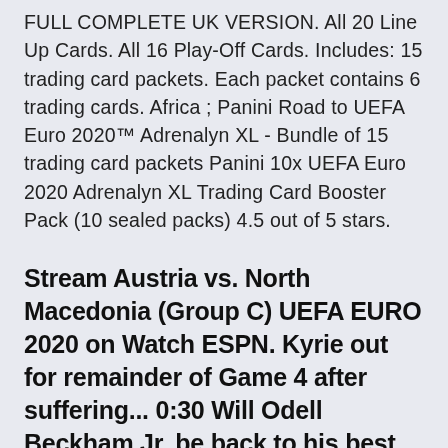FULL COMPLETE UK VERSION. All 20 Line Up Cards. All 16 Play-Off Cards. Includes: 15 trading card packets. Each packet contains 6 trading cards. Africa ; Panini Road to UEFA Euro 2020™ Adrenalyn XL - Bundle of 15 trading card packets Panini 10x UEFA Euro 2020 Adrenalyn XL Trading Card Booster Pack (10 sealed packs) 4.5 out of 5 stars.
Stream Austria vs. North Macedonia (Group C) UEFA EURO 2020 on Watch ESPN. Kyrie out for remainder of Game 4 after suffering... 0:30 Will Odell Beckham Jr. be back to his best after ACL injury? 1:00